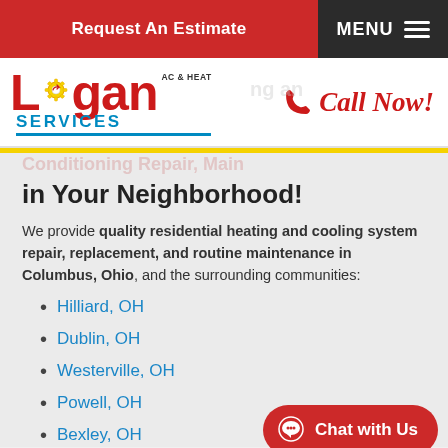Request An Estimate | MENU
[Figure (logo): Logan AC & Heat Services logo with red text and blue SERVICES underline]
Call Now!
in Your Neighborhood!
We provide quality residential heating and cooling system repair, replacement, and routine maintenance in Columbus, Ohio, and the surrounding communities:
Hilliard, OH
Dublin, OH
Westerville, OH
Powell, OH
Bexley, OH